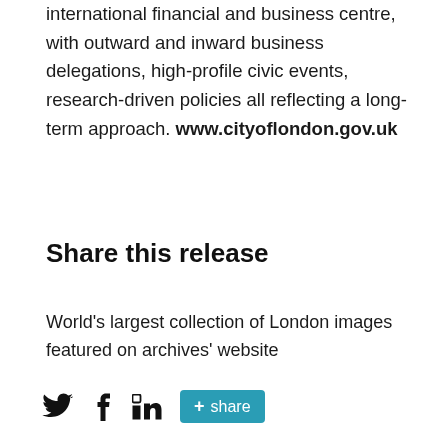supports and promotes the 'City' as the world's leading international financial and business centre, with outward and inward business delegations, high-profile civic events, research-driven policies all reflecting a long-term approach. www.cityoflondon.gov.uk
Share this release
World's largest collection of London images featured on archives' website
[Figure (other): Social sharing icons: Twitter bird icon, Facebook f icon, LinkedIn in icon, and a teal '+share' button]